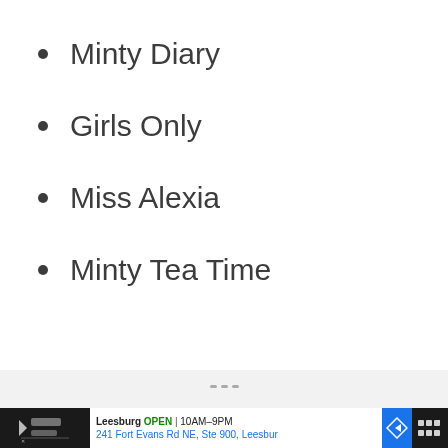Minty Diary
Girls Only
Miss Alexia
Minty Tea Time